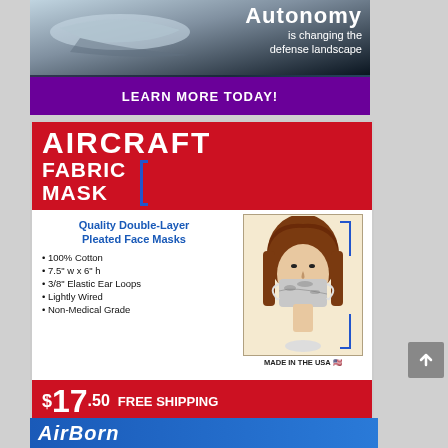[Figure (photo): Top advertisement banner: dark background with image of what appears to be an aircraft/submarine. Text reads 'Autonomy is changing the defense landscape' with 'LEARN MORE TODAY!' button in purple bar.]
[Figure (infographic): Aircraft Fabric Mask advertisement. Red header with 'AIRCRAFT FABRIC MASK' text. Features: Quality Double-Layer Pleated Face Masks, 100% Cotton, 7.5" w x 6" h, 3/8" Elastic Ear Loops, Lightly Wired, Non-Medical Grade. Price $17.50 FREE SHIPPING. AEROTECHNEWS.COM logo. Available for purchase at www.aerotechnews.com/shop. MADE IN THE USA with US flag. Photo of mannequin wearing aircraft-print fabric mask.]
[Figure (photo): Partial bottom advertisement showing 'AirBorn' text in white italic on blue background.]